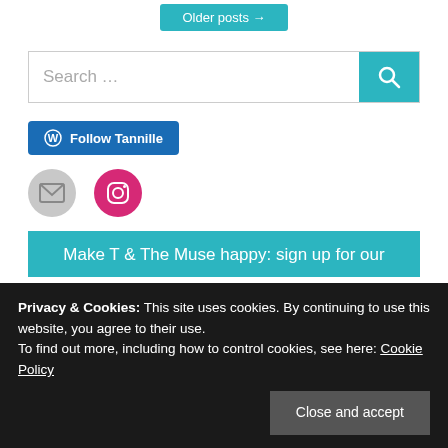Older posts
Search …
Follow Tannille
[Figure (other): Email icon circle (gray) and Instagram icon circle (pink/magenta) social media buttons]
Make T & The Muse happy: sign up for our
Privacy & Cookies: This site uses cookies. By continuing to use this website, you agree to their use.
To find out more, including how to control cookies, see here: Cookie Policy
Close and accept
Tannille… and The Muse… post fiction and bicker